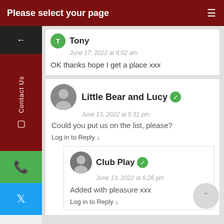Please select your page
Tony
June 17, 2022 at 8:02 am
OK thanks hope I get a place xxx
Little Bear and Lucy
June 13, 2022 at 5:31 pm
Could you put us on the list, please?
Log in to Reply ↓
Club Play
June 13, 2022 at 6:26 pm
Added with pleasure xxx
Log in to Reply ↓